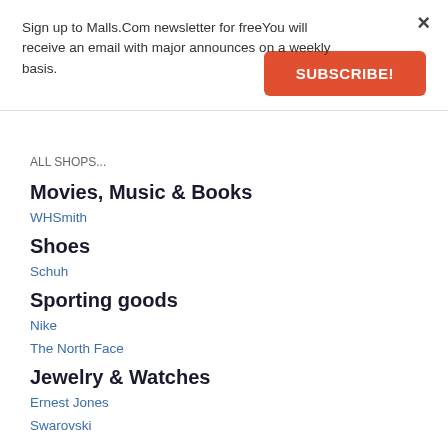Sign up to Malls.Com newsletter for freeYou will receive an email with major announces on a weekly basis.
SUBSCRIBE!
×
Movies, Music & Books
WHSmith
Shoes
Schuh
Sporting goods
Nike
The North Face
Jewelry & Watches
Ernest Jones
Swarovski